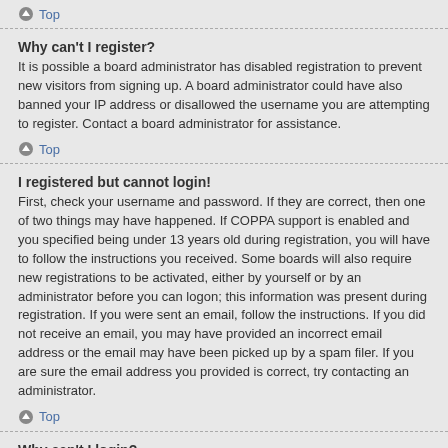Top
Why can't I register?
It is possible a board administrator has disabled registration to prevent new visitors from signing up. A board administrator could have also banned your IP address or disallowed the username you are attempting to register. Contact a board administrator for assistance.
Top
I registered but cannot login!
First, check your username and password. If they are correct, then one of two things may have happened. If COPPA support is enabled and you specified being under 13 years old during registration, you will have to follow the instructions you received. Some boards will also require new registrations to be activated, either by yourself or by an administrator before you can logon; this information was present during registration. If you were sent an email, follow the instructions. If you did not receive an email, you may have provided an incorrect email address or the email may have been picked up by a spam filer. If you are sure the email address you provided is correct, try contacting an administrator.
Top
Why can't I login?
There are several reasons why this could occur. First, ensure your username and password are correct. If they are, contact a board administrator to make sure